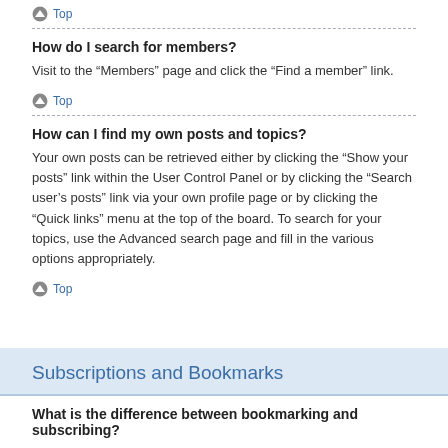Top
How do I search for members?
Visit to the “Members” page and click the “Find a member” link.
Top
How can I find my own posts and topics?
Your own posts can be retrieved either by clicking the “Show your posts” link within the User Control Panel or by clicking the “Search user’s posts” link via your own profile page or by clicking the “Quick links” menu at the top of the board. To search for your topics, use the Advanced search page and fill in the various options appropriately.
Top
Subscriptions and Bookmarks
What is the difference between bookmarking and subscribing?